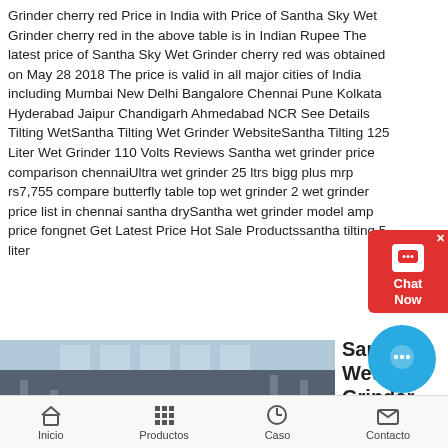Grinder cherry red Price in India with Price of Santha Sky Wet Grinder cherry red in the above table is in Indian Rupee The latest price of Santha Sky Wet Grinder cherry red was obtained on May 28 2018 The price is valid in all major cities of India including Mumbai New Delhi Bangalore Chennai Pune Kolkata Hyderabad Jaipur Chandigarh Ahmedabad NCR See Details Tilting WetSantha Tilting Wet Grinder WebsiteSantha Tilting 125 Liter Wet Grinder 110 Volts Reviews Santha wet grinder price comparison chennaiUltra wet grinder 25 ltrs bigg plus mrp rs7,755 compare butterfly table top wet grinder 2 wet grinder price list in chennai santha drySantha wet grinder model amp price fongnet Get Latest Price Hot Sale Productssantha tilting 5 liter
[Figure (screenshot): Chat widget with red background showing chat bubble icon and 'Chat Now' text]
[Figure (photo): Interior of an industrial building or warehouse with large windows and machinery]
Santha Wet Grinder Model Amp Price
Inicio   Productos   Caso   Contacto